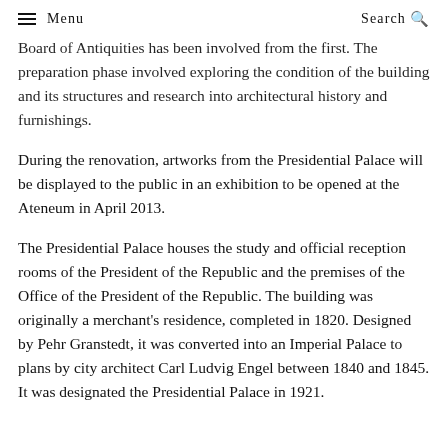Menu | Search
Board of Antiquities has been involved from the first. The preparation phase involved exploring the condition of the building and its structures and research into architectural history and furnishings.
During the renovation, artworks from the Presidential Palace will be displayed to the public in an exhibition to be opened at the Ateneum in April 2013.
The Presidential Palace houses the study and official reception rooms of the President of the Republic and the premises of the Office of the President of the Republic. The building was originally a merchant's residence, completed in 1820. Designed by Pehr Granstedt, it was converted into an Imperial Palace to plans by city architect Carl Ludvig Engel between 1840 and 1845. It was designated the Presidential Palace in 1921.